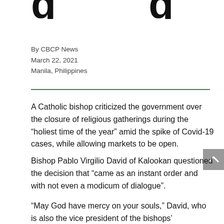Bishop slams gov't...
By CBCP News
March 22, 2021
Manila, Philippines
A Catholic bishop criticized the government over the closure of religious gatherings during the “holiest time of the year” amid the spike of Covid-19 cases, while allowing markets to be open.
Bishop Pablo Virgilio David of Kalookan questioned the decision that “came as an instant order and with not even a modicum of dialogue”.
“May God have mercy on your souls,” David, who is also the vice president of the bishops’ conference, said.